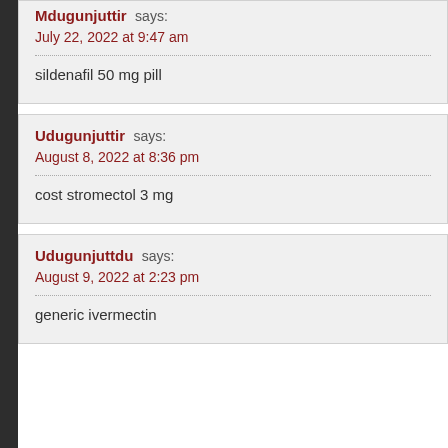Mdugunjuttir says:
July 22, 2022 at 9:47 am

sildenafil 50 mg pill
Udugunjuttir says:
August 8, 2022 at 8:36 pm

cost stromectol 3 mg
Udugunjuttdu says:
August 9, 2022 at 2:23 pm

generic ivermectin